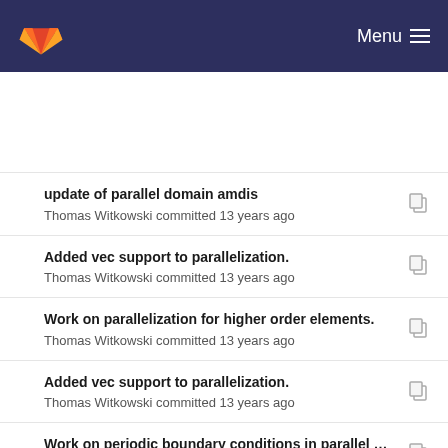GitLab — Menu
update of parallel domain amdis
Thomas Witkowski committed 13 years ago
Added vec support to parallelization.
Thomas Witkowski committed 13 years ago
Work on parallelization for higher order elements.
Thomas Witkowski committed 13 years ago
Added vec support to parallelization.
Thomas Witkowski committed 13 years ago
Work on periodic boundary conditions in parallel …
Thomas Witkowski committed 12 years ago
Mesh structure code for elements implemented.
Thomas Witkowski committed 12 years ago